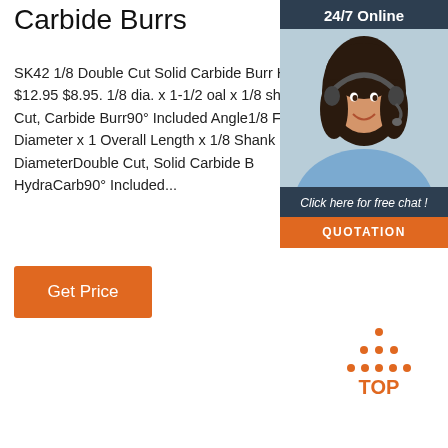Carbide Burrs
SK42 1/8 Double Cut Solid Carbide Burr HydraCarb $12.95 $8.95. 1/8 dia. x 1-1/2 oal x 1/8 shk Double Cut, Carbide Burr 90° Included Angle1/8 Flute Diameter x 1 Overall Length x 1/8 Shank DiameterDouble Cut, Solid Carbide B HydraCarb90° Included...
Get Price
[Figure (screenshot): 24/7 Online chat widget with woman wearing headset. Dark background with orange QUOTATION button and italic text 'Click here for free chat!']
[Figure (logo): Orange TOP badge with dotted triangle above text TOP]